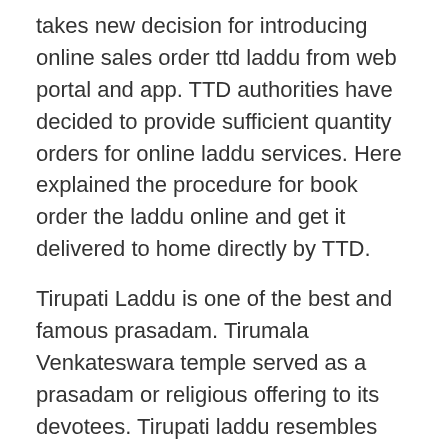takes new decision for introducing online sales order ttd laddu from web portal and app. TTD authorities have decided to provide sufficient quantity orders for online laddu services. Here explained the procedure for book order the laddu online and get it delivered to home directly by TTD.
Tirupati Laddu is one of the best and famous prasadam. Tirumala Venkateswara temple served as a prasadam or religious offering to its devotees. Tirupati laddu resembles old traditional religious offering in terms of recipe and ingredients that comprise of gram flour, cashew nuts, cardamom, pure ghee, filtered sugar and raisins primarily. Tirumala tirupati laddu favored by all, foreign travelers also loves, never miss the taste captivating taste of Tirupati laddu. Tirumala Tirupati laddu are unanimously loved by pilgrims and other